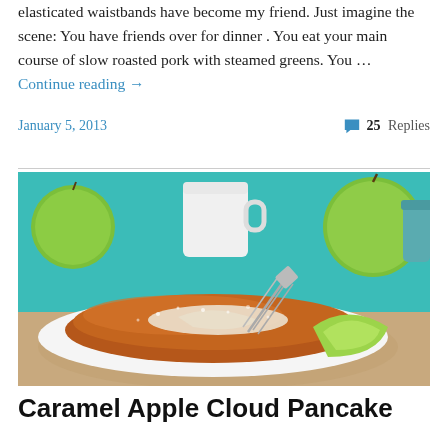elasticated waistbands have become my friend. Just imagine the scene: You have friends over for dinner . You eat your main course of slow roasted pork with steamed greens. You … Continue reading →
January 5, 2013
25 Replies
[Figure (photo): A photo of a caramel apple cloud pancake on a white plate with a fork, green apple slices on the side, green apples and a white mug in the background on a teal surface]
Caramel Apple Cloud Pancake